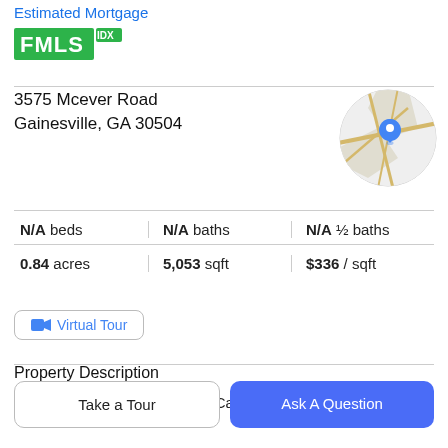Estimated Mortgage
[Figure (logo): FMLS IDX logo in green]
3575 Mcever Road
Gainesville, GA 30504
[Figure (map): Circular map thumbnail showing location with blue pin marker]
| N/A beds | N/A baths | N/A ½ baths |
| 0.84 acres | 5,053 sqft | $336 / sqft |
Virtual Tour
Property Description
Motivated Seller! Bring offers! Can purchase building only
Take a Tour
Ask A Question